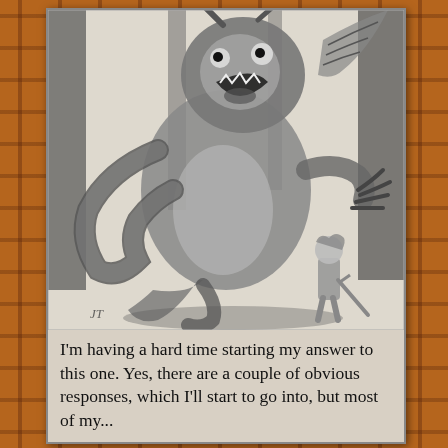[Figure (illustration): Black and white engraving illustration of the Jabberwocky creature from Alice in Wonderland — a large monstrous beast with scales, claws, and open roaring mouth, facing a small figure (young boy/Alice) armed with a sword, set in a dark forest scene. Artist monogram 'JT' visible bottom left.]
I'm having a hard time starting my answer to this one. Yes, there are a couple of obvious responses, which I'll start to go into, but most of my...